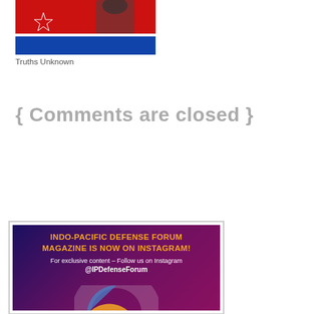[Figure (photo): Partial image showing North Korean flag with a person partially visible, cropped at top of page]
Truths Unknown
{ Comments are closed }
[Figure (infographic): Indo-Pacific Defense Forum Magazine Instagram advertisement banner with dark purple/magenta gradient background, yellow bold text reading INDO-PACIFIC DEFENSE FORUM MAGAZINE IS NOW ON INSTAGRAM!, white subtext For exclusive content – Follow us on Instagram @IPDefenseForum, and a partial circular graphic at bottom]